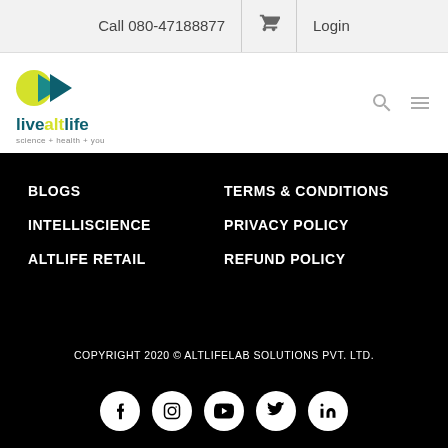Call 080-47188877  Login
[Figure (logo): livealtlife logo with teal/green arrow icons and tagline 'science + health + you']
BLOGS
INTELLISCIENCE
ALTLIFE RETAIL
TERMS & CONDITIONS
PRIVACY POLICY
REFUND POLICY
COPYRIGHT 2020 © ALTLIFELAB SOLUTIONS PVT. LTD.